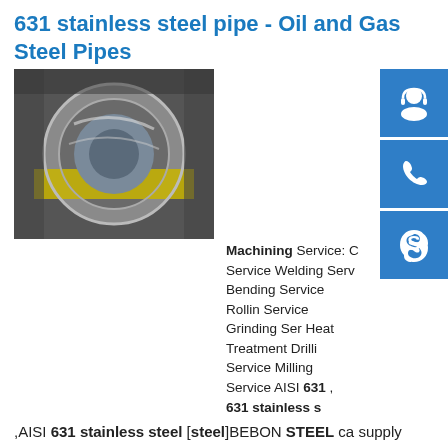631 stainless steel pipe - Oil and Gas Steel Pipes
[Figure (photo): Industrial steel pipe coil or roll, large metallic cylinder with yellow insulation visible, in a manufacturing setting]
Machining Service: Cutting Service Welding Service Bending Service Rolling Service Grinding Service Heat Treatment Drilling Service Milling Service AISI 631 , 631 stainless steel
,AISI 631 stainless steel [steel]BEBON STEEL can supply shipbuilding steel sheet,weathering resistant steel,stainless steel,steel pipe,special material steel and other kinds of medium plate on the ...sp.info THREE SPOKE HANDLE - for a VINTAGE DELTA DRILL PRESS ...THE BILLET ALUMINUM HUB IS A CNC MACHINED PART SIMILAR TO THE ORIGINAL DELTA CAST IRON PART NUMBER DP-631. THE KNOBS ARE REPLICAS OF THE ORIGINAL DELTA SATURN KNOB. WITH THE